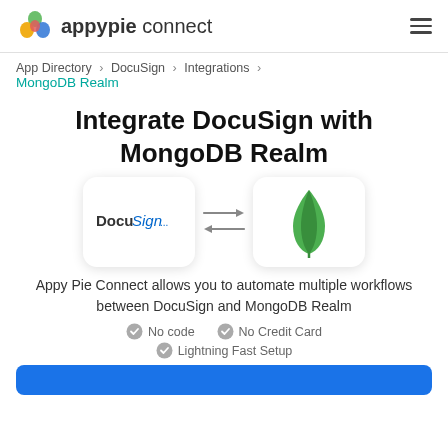appypie connect
App Directory > DocuSign > Integrations > MongoDB Realm
Integrate DocuSign with MongoDB Realm
[Figure (logo): DocuSign logo box and MongoDB Realm leaf logo box connected by bidirectional arrows]
Appy Pie Connect allows you to automate multiple workflows between DocuSign and MongoDB Realm
No code
No Credit Card
Lightning Fast Setup